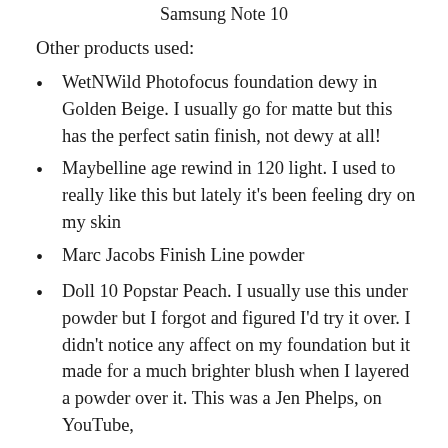Samsung Note 10
Other products used:
WetNWild Photofocus foundation dewy in Golden Beige. I usually go for matte but this has the perfect satin finish, not dewy at all!
Maybelline age rewind in 120 light. I used to really like this but lately it’s been feeling dry on my skin
Marc Jacobs Finish Line powder
Doll 10 Popstar Peach. I usually use this under powder but I forgot and figured I’d try it over. I didn’t notice any affect on my foundation but it made for a much brighter blush when I layered a powder over it. This was a Jen Phelps, on YouTube,